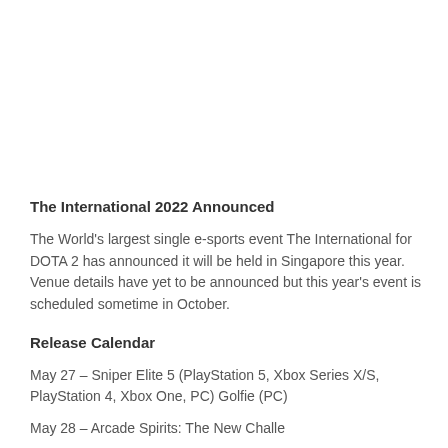The International 2022 Announced
The World's largest single e-sports event The International for DOTA 2 has announced it will be held in Singapore this year. Venue details have yet to be announced but this year's event is scheduled sometime in October.
Release Calendar
May 27 – Sniper Elite 5 (PlayStation 5, Xbox Series X/S, PlayStation 4, Xbox One, PC) Golfie (PC)
May 28 – ...